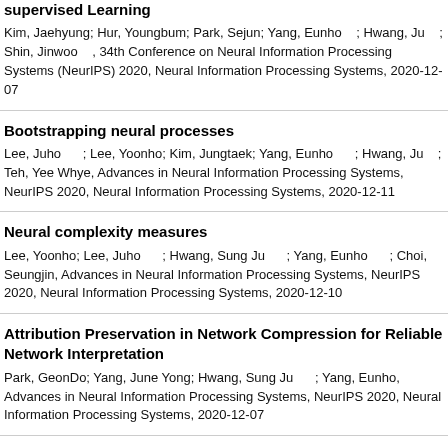supervised Learning
Kim, Jaehyung; Hur, Youngbum; Park, Sejun; Yang, Eunho ; Hwang, Ju ; Shin, Jinwoo , 34th Conference on Neural Information Processing Systems (NeurIPS) 2020, Neural Information Processing Systems, 2020-07
Bootstrapping neural processes
Lee, Juho ; Lee, Yoonho; Kim, Jungtaek; Yang, Eunho ; Hwang, Ju ; Teh, Yee Whye, Advances in Neural Information Processing Systems, NeurIPS 2020, Neural Information Processing Systems, 2020-12-11
Neural complexity measures
Lee, Yoonho; Lee, Juho ; Hwang, Sung Ju ; Yang, Eunho ; Choi, Seungjin, Advances in Neural Information Processing Systems, NeurIPS 2020, Neural Information Processing Systems, 2020-12-10
Attribution Preservation in Network Compression for Reliable Network Interpretation
Park, GeonDo; Yang, June Yong; Hwang, Sung Ju ; Yang, Eunho, Advances in Neural Information Processing Systems, NeurIPS 2020, Neural Information Processing Systems, 2020-12-07
Scalable and Order-robust Continual Learning with Additive Parameter Decomposition